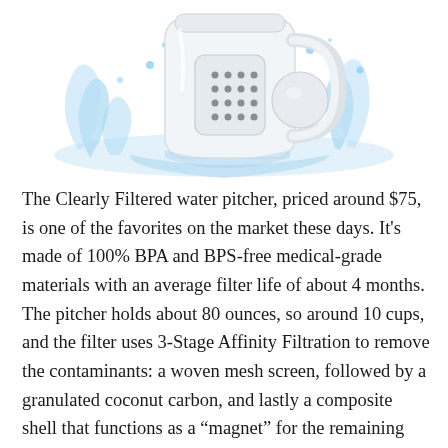[Figure (photo): Product photo of the Clearly Filtered water pitcher shown splashing in water, with a white filter cartridge visible. The pitcher is white/transparent with water splashing dramatically around it against a white background.]
The Clearly Filtered water pitcher, priced around $75, is one of the favorites on the market these days. It's made of 100% BPA and BPS-free medical-grade materials with an average filter life of about 4 months. The pitcher holds about 80 ounces, so around 10 cups, and the filter uses 3-Stage Affinity Filtration to remove the contaminants: a woven mesh screen, followed by a granulated coconut carbon, and lastly a composite shell that functions as a "magnet" for the remaining contaminants. Because of the